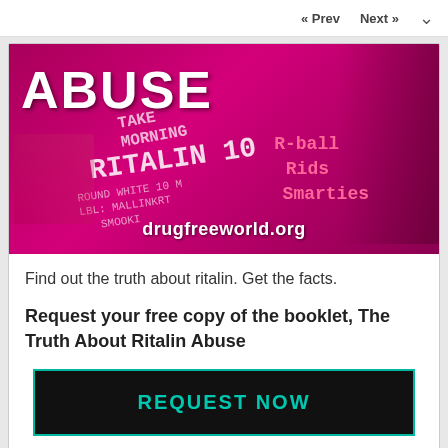« Prev   Next »
[Figure (photo): Pink-tinted collage image showing the word ABUSE in large white text, a syringe, a Ritalin pill label, street names R-ball, Rids, Smarties in pink text, and drugfreeworld.org URL at the bottom]
Find out the truth about ritalin. Get the facts.
Request your free copy of the booklet, The Truth About Ritalin Abuse
REQUEST NOW